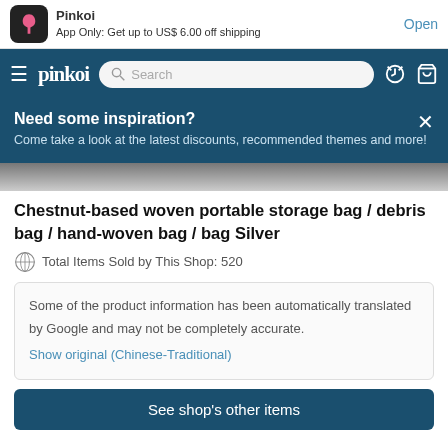Pinkoi
App Only: Get up to US$ 6.00 off shipping
Open
[Figure (screenshot): Pinkoi navigation bar with hamburger menu, pinkoi logo, search box, history and cart icons]
Need some inspiration?
Come take a look at the latest discounts, recommended themes and more!
[Figure (photo): Partial product image strip showing a woven bag]
Chestnut-based woven portable storage bag / debris bag / hand-woven bag / bag Silver
Total Items Sold by This Shop: 520
Some of the product information has been automatically translated by Google and may not be completely accurate.
Show original (Chinese-Traditional)
See shop's other items